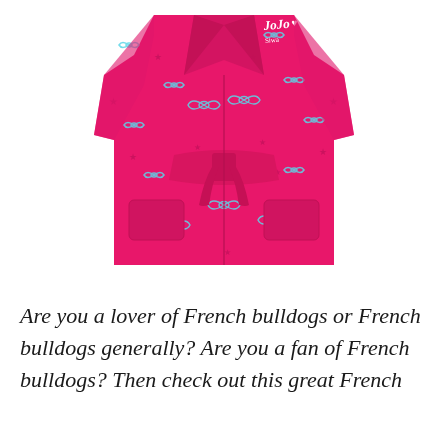[Figure (photo): A hot pink children's bathrobe with blue bow and star patterns printed all over it, with a belt tied at the waist. A white 'JoJo Siwa' logo/brand mark is visible on the upper right chest area.]
Are you a lover of French bulldogs or French bulldogs generally? Are you a fan of French bulldogs? Then check out this great French